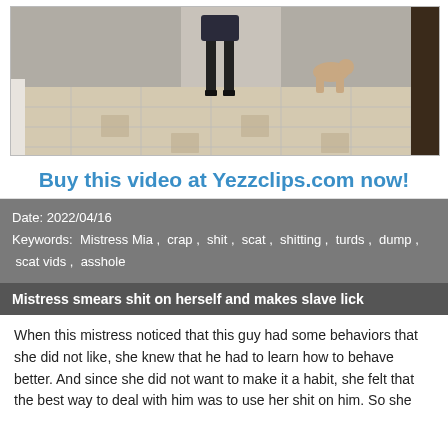[Figure (photo): A hallway scene showing a woman in heels walking down a corridor with a person crawling behind her.]
Buy this video at Yezzclips.com now!
Date: 2022/04/16
Keywords: Mistress Mia , crap , shit , scat , shitting , turds , dump , scat vids , asshole
Mistress smears shit on herself and makes slave lick
When this mistress noticed that this guy had some behaviors that she did not like, she knew that he had to learn how to behave better. And since she did not want to make it a habit, she felt that the best way to deal with him was to use her shit on him. So she